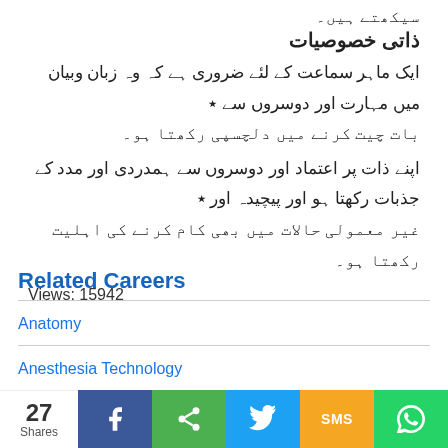سیکھتے ہیں۔
ذاتی خصوصیات
* ایک ماہر سماعت کے لئے ضروری ہے کہ وہ زبان وبیان میں مہارت اور دوسروں سے بات چیت کرنے میں دلچسپی رکھتا ہو۔
* اپنے ذات پر اعتماد اور دوسروں سے ہمدردی اور مدد کے جذبات رکھتا ہو اور پیچیدہ اور غیر معمولی حالات میں بھی کام کرنے کی اہلیت رکھتا ہو۔
Views: 15942
Related Careers
Anatomy
Anesthesia Technology